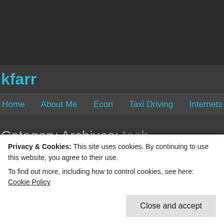kfarr
Home   About Me   Econ   Taxi Driving   Internets
Category Archives: tech
Posted
OS X is turning into Windows 98: my four top C
Privacy & Cookies: This site uses cookies. By continuing to use this website, you agree to their use.
To find out more, including how to control cookies, see here: Cookie Policy
Close and accept
reading →